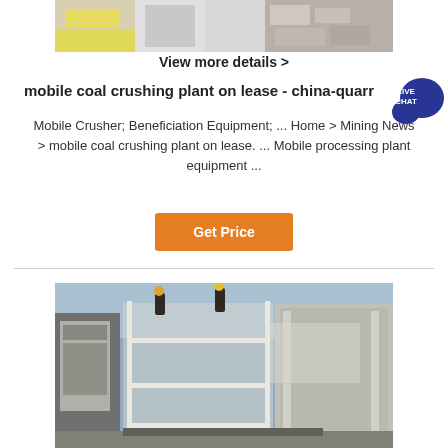[Figure (photo): Top banner image showing quarry/mining equipment and stone materials]
View more details >
mobile coal crushing plant on lease - china-quarr...
Mobile Crusher; Beneficiation Equipment; ... Home > Mining News > mobile coal crushing plant on lease. ... Mobile processing plant equipment ...
Get Price
[Figure (photo): Photo of mobile coal crushing plant machinery with workers on top of industrial equipment]